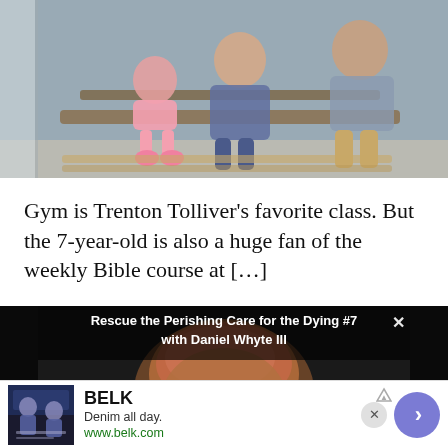[Figure (photo): Family seated on a bench outside a building with blue-gray siding; includes adults and a young child in pink]
Gym is Trenton Tolliver’s favorite class. But the 7-year-old is also a huge fan of the weekly Bible course at […]
[Figure (screenshot): Video overlay titled 'Rescue the Perishing Care for the Dying #7 with Daniel Whyte III' showing a man with glasses looking down, with a close button (x) in the top right, letter A visible at bottom left, black side strips]
BELK
Denim all day.
www.belk.com